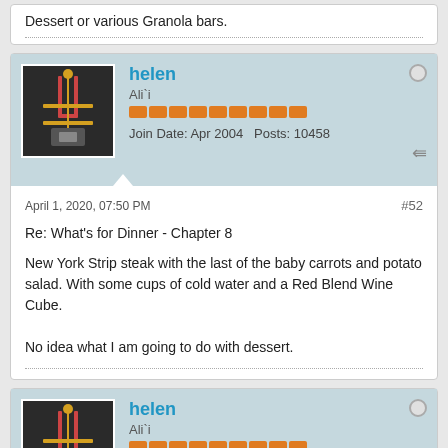Dessert or various Granola bars.
helen
Ali`i
Join Date: Apr 2004   Posts: 10458
April 1, 2020, 07:50 PM
#52
Re: What's for Dinner - Chapter 8
New York Strip steak with the last of the baby carrots and potato salad. With some cups of cold water and a Red Blend Wine Cube.

No idea what I am going to do with dessert.
helen
Ali`i
Join Date: Apr 2004   Posts: 10458